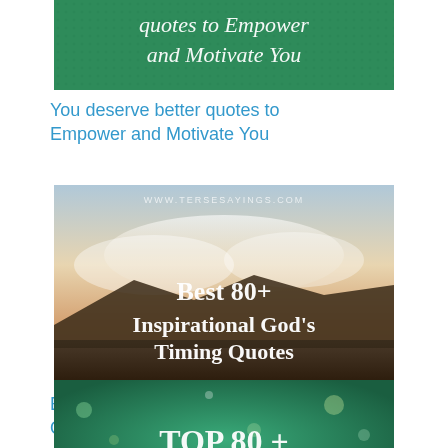[Figure (illustration): Green banner image partially cropped at top, showing white italic text 'quotes to Empower and Motivate You' on a dark green textured background.]
You deserve better quotes to Empower and Motivate You
[Figure (illustration): Landscape photo with a sunrise/sunset sky and distant mountains. White bold serif text overlay reads 'Best 80+ Inspirational God's Timing Quotes'. Small watermark at top: 'WWW.TERSESAYINGS.COM'.]
Best 80+ Inspirational God's Timing Quotes
[Figure (illustration): Dark teal/green background with confetti bokeh effect. White text reads 'TOP 80 +'. Partially cropped at bottom of page.]